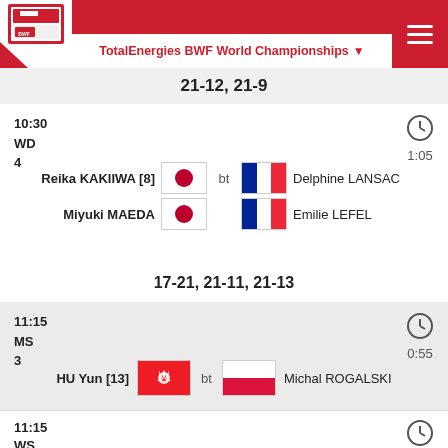TotalEnergies BWF World Championships
21-12, 21-9
10:30
WD
4
1:05
Reika KAKIIWA [8]
Miyuki MAEDA
bt
Delphine LANSAC
Emilie LEFEL
17-21, 21-11, 21-13
11:15
MS
3
0:55
HU Yun [13]
bt
Michal ROGALSKI
21-18, 13-21, 21-13
11:15
WS